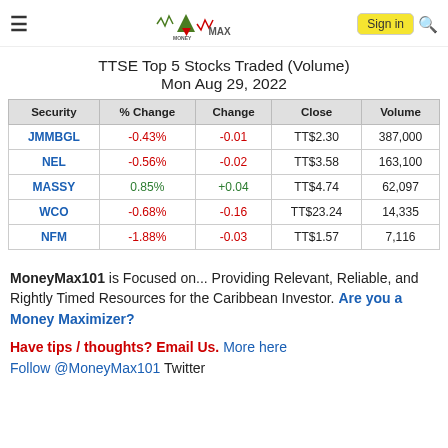MoneyMax101 - Sign in
TTSE Top 5 Stocks Traded (Volume)
Mon Aug 29, 2022
| Security | % Change | Change | Close | Volume |
| --- | --- | --- | --- | --- |
| JMMBGL | -0.43% | -0.01 | TT$2.30 | 387,000 |
| NEL | -0.56% | -0.02 | TT$3.58 | 163,100 |
| MASSY | 0.85% | +0.04 | TT$4.74 | 62,097 |
| WCO | -0.68% | -0.16 | TT$23.24 | 14,335 |
| NFM | -1.88% | -0.03 | TT$1.57 | 7,116 |
MoneyMax101 is Focused on... Providing Relevant, Reliable, and Rightly Timed Resources for the Caribbean Investor. Are you a Money Maximizer?
Have tips / thoughts? Email Us. More here
Follow @MoneyMax101 Twitter